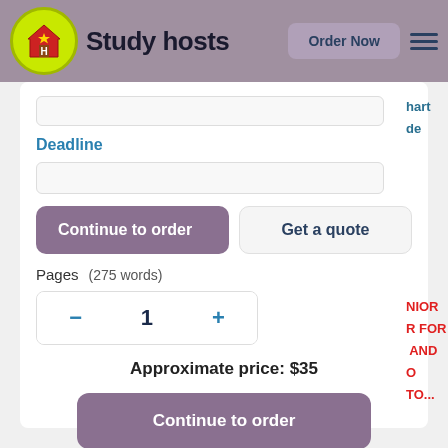[Figure (logo): Study hosts website logo with green circle containing house icon and 'Study hosts' text in navbar]
Study hosts | Order Now
hart
ode
Deadline
Continue to order
Get a quote
Pages    (275 words)
−  1  +
Approximate price: $35
NIOR
R FOR
I AND
O TO...
Continue to order